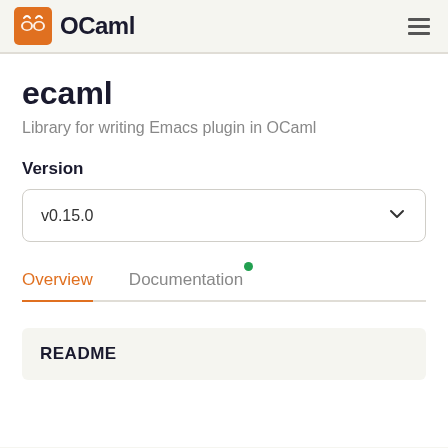OCaml
ecaml
Library for writing Emacs plugin in OCaml
Version
v0.15.0
Overview   Documentation
README